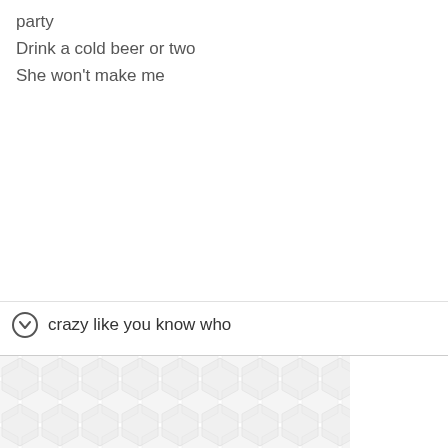party
Drink a cold beer or two
She won't make me
crazy like you know who